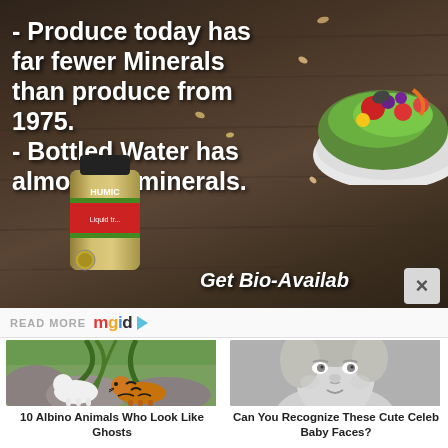[Figure (infographic): Dark wooden background advertisement with text about produce minerals and bottled water, with a salad bowl image top-right and a Humic supplement bottle bottom-center. Text reads: '- Produce today has far fewer Minerals than produce from 1975. - Bottled Water has almost no minerals.' with 'Get Bio-Availab...' text at bottom right.]
READ MORE mgid ▷
[Figure (photo): Photo of a white albino lion/panther and a tiger standing together in a zoo setting with tropical plants in background]
[Figure (photo): Black and white photo of a cute toddler/baby girl looking up]
10 Albino Animals Who Look Like Ghosts
Can You Recognize These Cute Celeb Baby Faces?